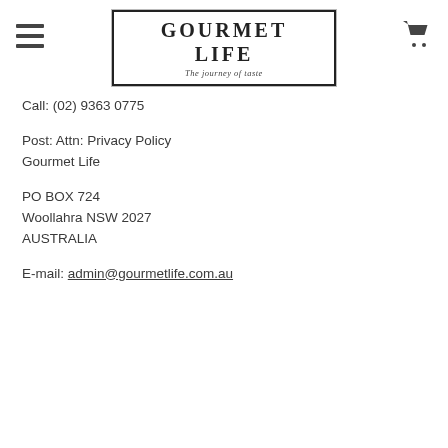GOURMET LIFE — The journey of taste
Call: (02) 9363 0775
Post: Attn: Privacy Policy
Gourmet Life
PO BOX 724
Woollahra NSW 2027
AUSTRALIA
E-mail: admin@gourmetlife.com.au